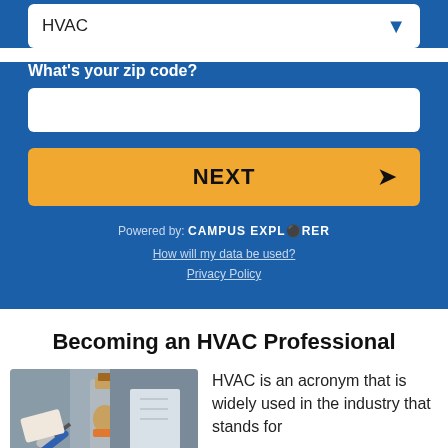HVAC
What's your zip code?
NEXT
Powered by: CAMPUS EXPLORER
How will my data be used?
Privacy Policy
Becoming an HVAC Professional
[Figure (photo): A person using a wrench and pipe wrench to work on HVAC plumbing pipes and fittings, with a water heater in the background.]
HVAC is an acronym that is widely used in the industry that stands for